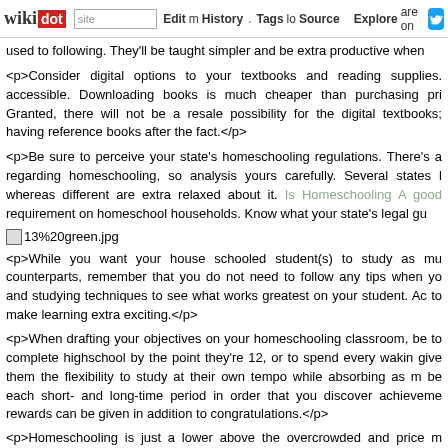wikidot | site Edit History Tags Source Explore Share on [twitter]
used to following. They'll be taught simpler and be extra productive when
<p>Consider digital options to your textbooks and reading supplies. accessible. Downloading books is much cheaper than purchasing pri Granted, there will not be a resale possibility for the digital textbooks; having reference books after the fact.</p>
<p>Be sure to perceive your state's homeschooling regulations. There's a regarding homeschooling, so analysis yours carefully. Several states l whereas different are extra relaxed about it. Is Homeschooling A good requirement on homeschool households. Know what your state's legal gu
[Figure (other): Broken image placeholder for 13%20green.jpg]
<p>While you want your house schooled student(s) to study as mu counterparts, remember that you do not need to follow any tips when yo and studying techniques to see what works greatest on your student. Ac to make learning extra exciting.</p>
<p>When drafting your objectives on your homeschooling classroom, be to complete highschool by the point they're 12, or to spend every wakin give them the flexibility to study at their own tempo while absorbing as m be each short- and long-time period in order that you discover achieveme rewards can be given in addition to congratulations.</p>
<p>Homeschooling is just a lower above the overcrowded and price m Nevertheless, you will need to do not forget that not every little thing is lef Many states have strict tips governing the inclusion of standardized testin they're testing under common in certain areas.</p>